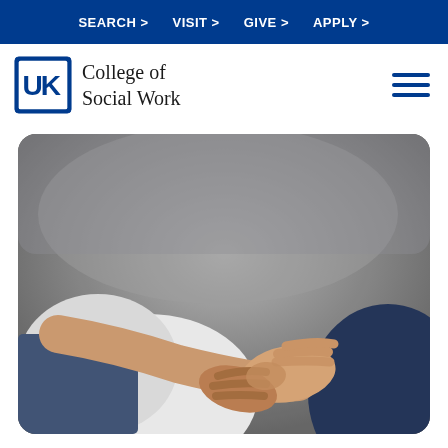SEARCH >   VISIT >   GIVE >   APPLY >
College of Social Work
[Figure (photo): Close-up photo of an adult holding a child's hands in a caring gesture. The adult wears a white sweater and jeans; the child wears a dark blue top. The background is blurred gray. The image is displayed with rounded corners.]